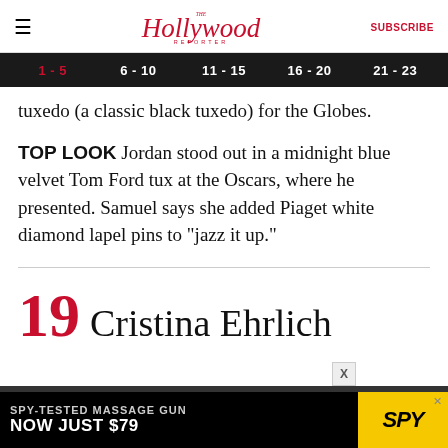The Hollywood Reporter | SUBSCRIBE
1 - 5 | 6 - 10 | 11 - 15 | 16 - 20 | 21 - 23
tuxedo (a classic black tuxedo) for the Globes.
TOP LOOK Jordan stood out in a midnight blue velvet Tom Ford tux at the Oscars, where he presented. Samuel says she added Piaget white diamond lapel pins to "jazz it up."
19 Cristina Ehrlich
[Figure (other): Advertisement banner: SPY-TESTED MASSAGE GUN NOW JUST $79 with SPY logo on yellow background]